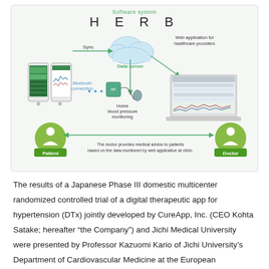[Figure (infographic): Software system HERB infographic showing a data flow diagram. A smartphone app (Patient side) syncs via arrow to a cloud Data server. A Bluetooth connection links to a Home blood pressure monitoring device. The Data server connects via arrow to a Web application for healthcare providers (shown on a laptop). At the bottom, a Patient icon and Doctor icon are connected by bidirectional arrows, with text: 'The doctor provides medical advice to patients based on the data monitored by web application at clinic.']
The results of a Japanese Phase III domestic multicenter randomized controlled trial of a digital therapeutic app for hypertension (DTx) jointly developed by CureApp, Inc. (CEO Kohta Satake; hereafter “the Company”) and Jichi Medical University were presented by Professor Kazuomi Kario of Jichi University’s Department of Cardiovascular Medicine at the European